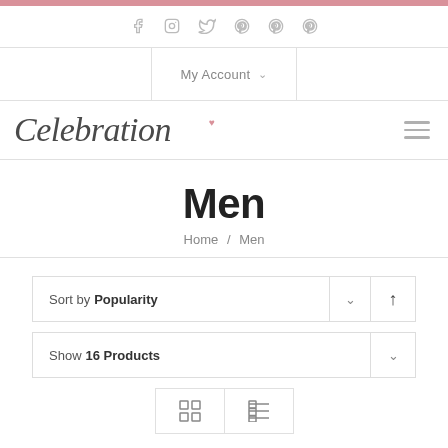Social icons row: facebook, instagram, twitter, pinterest, pinterest, pinterest
My Account ∨
[Figure (logo): Celebration script logo with small pink heart accent]
Men
Home / Men
Sort by Popularity ∨ ↑
Show 16 Products ∨
[Figure (other): Grid view and list view toggle buttons]